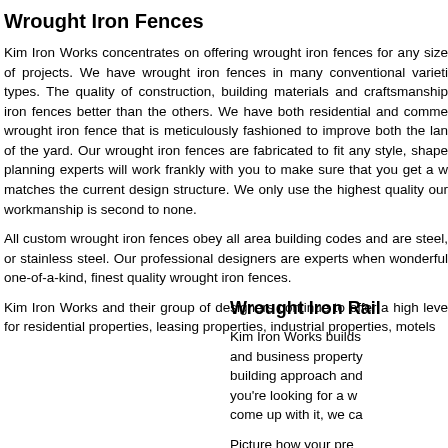Wrought Iron Fences
Kim Iron Works concentrates on offering wrought iron fences for any size of projects. We have wrought iron fences in many conventional varieties types. The quality of construction, building materials and craftsmanship iron fences better than the others. We have both residential and commercial wrought iron fence that is meticulously fashioned to improve both the landscape of the yard. Our wrought iron fences are fabricated to fit any style, shape planning experts will work frankly with you to make sure that you get a wrought matches the current design structure. We only use the highest quality our workmanship is second to none.
All custom wrought iron fences obey all area building codes and are steel, or stainless steel. Our professional designers are experts when wonderful one-of-a-kind, finest quality wrought iron fences.
Kim Iron Works and their group of designers continue to offer a high level for residential properties, leasing properties, industrial properties, motels
Wrought Iron Rail
Kim Iron Works builds and business property building approach and you're looking for a w come up with it, we ca
Picture how your pre